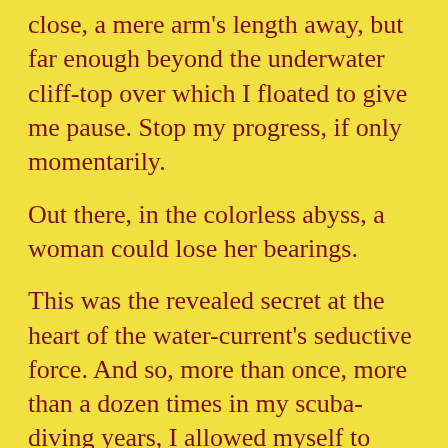close, a mere arm's length away, but far enough beyond the underwater cliff-top over which I floated to give me pause. Stop my progress, if only momentarily.

Out there, in the colorless abyss, a woman could lose her bearings.

This was the revealed secret at the heart of the water-current's seductive force. And so, more than once, more than a dozen times in my scuba-diving years, I allowed myself to float forward into that powerful flow. Eyes focused through the plankton swirl to the impenetrable gloom, I allowed myself, if only for a few moments, to be taken.